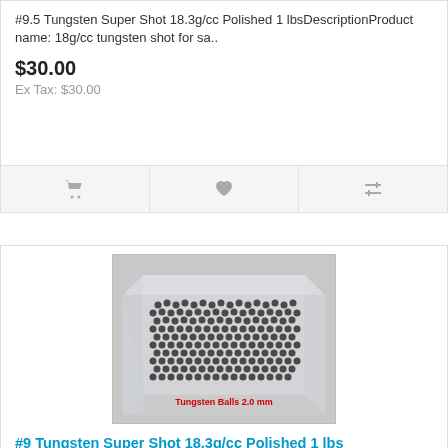#9.5 Tungsten Super Shot 18.3g/cc Polished 1 lbsDescriptionProduct name: 18g/cc tungsten shot for sa..
$30.00
Ex Tax: $30.00
[Figure (photo): Tungsten balls 2.0mm in a clear square container, with red label text 'Tungsten Balls 2.0 mm']
#9 Tungsten Super Shot 18.3g/cc Polished 1 lbs